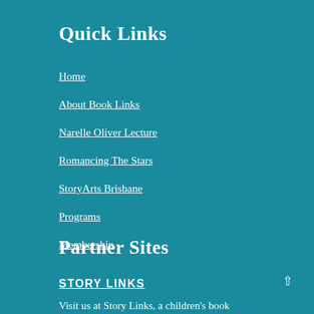Quick Links
Home
About Book Links
Narelle Oliver Lecture
Romancing The Stars
StoryArts Brisbane
Programs
Membership
Partner Sites
STORY LINKS
Visit us at Story Links, a children's book